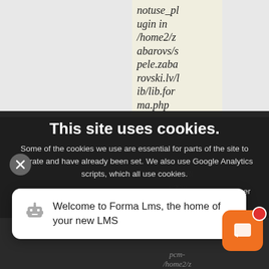notuse_plugin in /home2/zabarovs/spele.zabarovski.lv/lib/lib.forma.php
on line 31
...-ay-2020
16:29:42
Europe/Ri
...-y-...
Undefine
This site uses cookies.
Some of the cookies we use are essential for parts of the site to operate and have already been set. We also use Google Analytics scripts, which all use cookies.
You may delete or block all cookies from this site in your browser options.
Welcome to Forma Lms, the home of your new LMS
pcm-
/home2/z